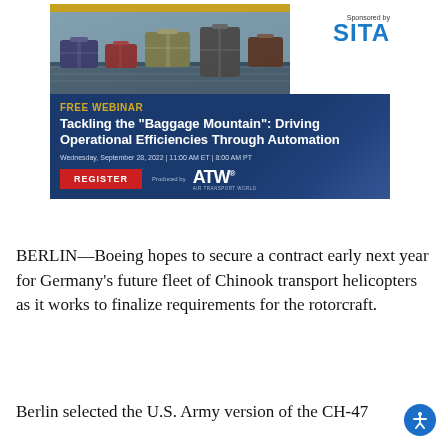[Figure (illustration): Advertisement banner for a free webinar sponsored by SITA. Includes a photo of airport baggage/luggage conveyor, SITA logo, title 'Tackling the "Baggage Mountain": Driving Operational Efficiencies Through Automation', date 'Wednesday, September 28, 2022 | 11:00 AM ET | 8:00 AM PT', REGISTER button, and ATW (Air Transport World) logo.]
BERLIN—Boeing hopes to secure a contract early next year for Germany's future fleet of Chinook transport helicopters as it works to finalize requirements for the rotorcraft.
Berlin selected the U.S. Army version of the CH-47